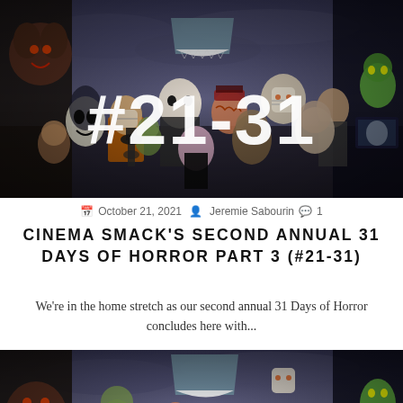[Figure (illustration): Horror movie characters collage banner image with text '#21-31' overlaid in white bold font]
October 21, 2021  Jeremie Sabourin  1
CINEMA SMACK'S SECOND ANNUAL 31 DAYS OF HORROR PART 3 (#21-31)
We're in the home stretch as our second annual 31 Days of Horror concludes here with...
[Figure (illustration): Second instance of horror movie characters collage banner image (partial, cropped at bottom)]